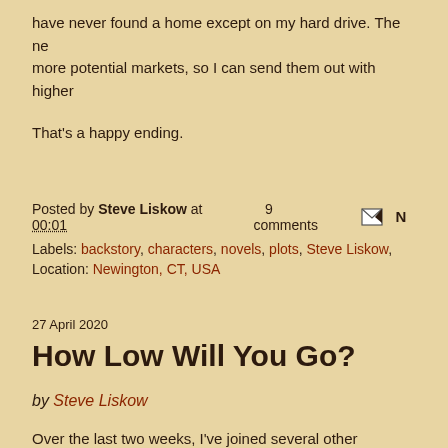have never found a home except on my hard drive. The ne more potential markets, so I can send them out with higher
That's a happy ending.
Posted by Steve Liskow at 00:01    9 comments
Labels: backstory, characters, novels, plots, Steve Liskow,
Location: Newington, CT, USA
27 April 2020
How Low Will You Go?
by Steve Liskow
Over the last two weeks, I've joined several other Connecti